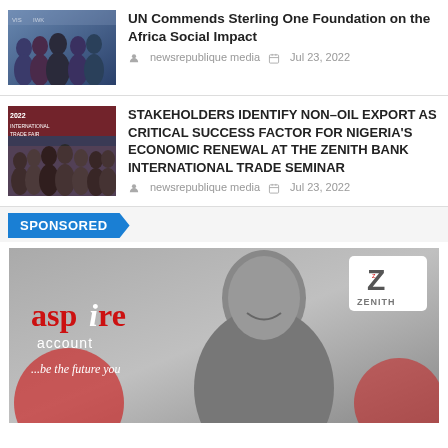[Figure (photo): Group of people in formal attire at an event with banners]
UN Commends Sterling One Foundation on the Africa Social Impact
newsrepublique media   Jul 23, 2022
[Figure (photo): Group of men in suits at 2022 International Trade Fair event]
STAKEHOLDERS IDENTIFY NON-OIL EXPORT AS CRITICAL SUCCESS FACTOR FOR NIGERIA'S ECONOMIC RENEWAL AT THE ZENITH BANK INTERNATIONAL TRADE SEMINAR
newsrepublique media   Jul 23, 2022
SPONSORED
[Figure (photo): Zenith Bank Aspire Account advertisement showing smiling young man, aspire account logo, and be the future you tagline]